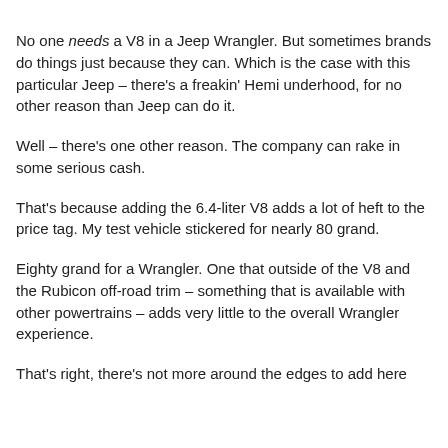No one needs a V8 in a Jeep Wrangler. But sometimes brands do things just because they can. Which is the case with this particular Jeep – there's a freakin' Hemi underhood, for no other reason than Jeep can do it.
Well – there's one other reason. The company can rake in some serious cash.
That's because adding the 6.4-liter V8 adds a lot of heft to the price tag. My test vehicle stickered for nearly 80 grand.
Eighty grand for a Wrangler. One that outside of the V8 and the Rubicon off-road trim – something that is available with other powertrains – adds very little to the overall Wrangler experience.
That's right, there's not more around the edges to add here…